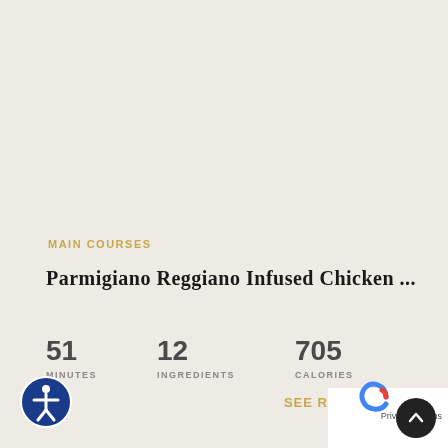MAIN COURSES
Parmigiano Reggiano Infused Chicken ...
51 MINUTES
12 INGREDIENTS
705 CALORIES
SEE REC...